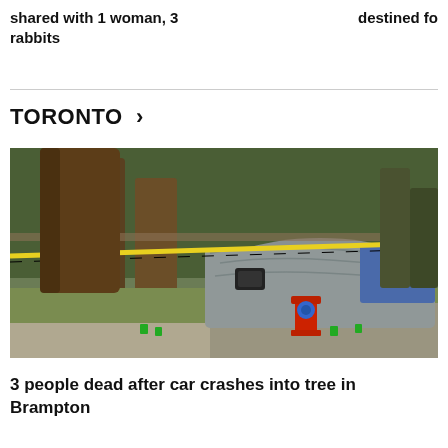shared with 1 woman, 3 rabbits
destined fo
TORONTO >
[Figure (photo): Crime scene photo showing a car that has crashed into a tree, covered with a grey tarp, yellow police tape stretched across, a red fire hydrant in the foreground, trees and grass in the background.]
3 people dead after car crashes into tree in Brampton